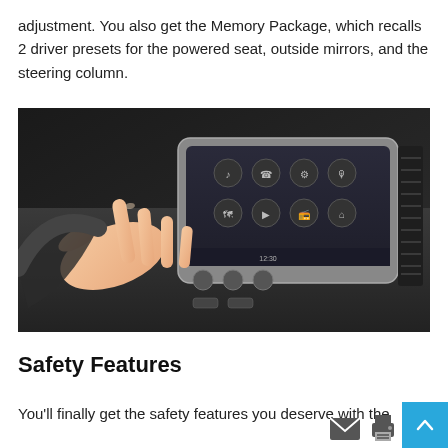adjustment. You also get the Memory Package, which recalls 2 driver presets for the powered seat, outside mirrors, and the steering column.
[Figure (photo): A hand touching a car infotainment touchscreen showing app icons, with a dark dashboard and air vents visible on the right.]
Safety Features
You'll finally get the safety features you deserve with the